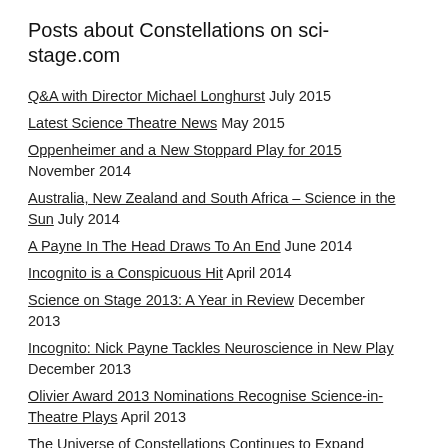Posts about Constellations on sci-stage.com
Q&A with Director Michael Longhurst July 2015
Latest Science Theatre News May 2015
Oppenheimer and a New Stoppard Play for 2015 November 2014
Australia, New Zealand and South Africa – Science in the Sun July 2014
A Payne In The Head Draws To An End June 2014
Incognito is a Conspicuous Hit April 2014
Science on Stage 2013: A Year in Review December 2013
Incognito: Nick Payne Tackles Neuroscience in New Play December 2013
Olivier Award 2013 Nominations Recognise Science-in-Theatre Plays April 2013
The Universe of Constellations Continues to Expand March 2013